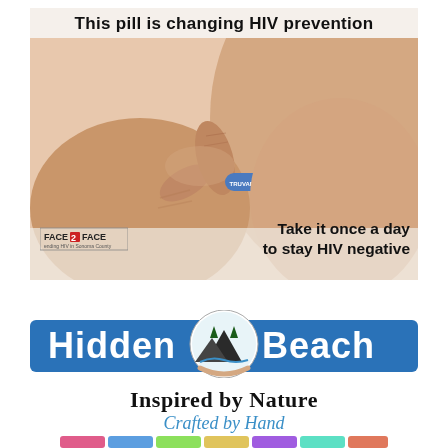[Figure (infographic): HIV prevention advertisement showing a hand holding a blue pill with text overlay. Headline: 'This pill is changing HIV prevention'. Bottom right text: 'Take it once a day to stay HIV negative'. Face 2 Face logo in bottom left corner with text 'ending HIV in Sonoma County'.]
[Figure (logo): Hidden Beach logo: blue banner with 'Hidden Beach' text, circular nature emblem in the center showing mountains, trees, and waves held by hands. Below: 'Inspired by Nature' in bold serif, 'Crafted by Hand' in blue italic. Colorful soaps visible at bottom.]